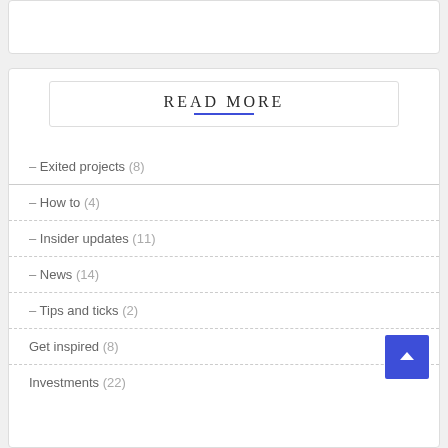READ MORE
– Exited projects (8)
– How to (4)
– Insider updates (11)
– News (14)
– Tips and ticks (2)
Get inspired (8)
Investments (22)